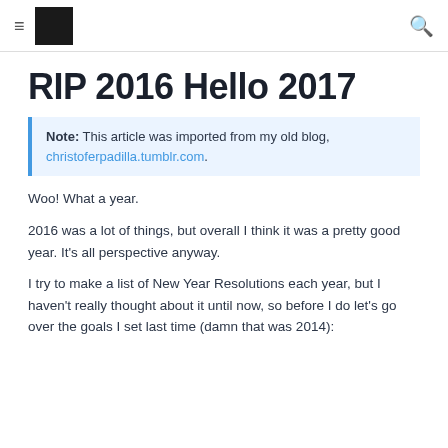≡ [logo] 🔍
RIP 2016 Hello 2017
Note: This article was imported from my old blog, christoferpadilla.tumblr.com.
Woo! What a year.
2016 was a lot of things, but overall I think it was a pretty good year. It's all perspective anyway.
I try to make a list of New Year Resolutions each year, but I haven't really thought about it until now, so before I do let's go over the goals I set last time (damn that was 2014):